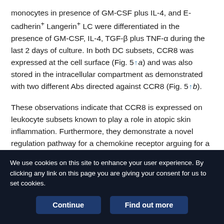monocytes in presence of GM-CSF plus IL-4, and E-cadherin+ Langerin+ LC were differentiated in the presence of GM-CSF, IL-4, TGF-β plus TNF-α during the last 2 days of culture. In both DC subsets, CCR8 was expressed at the cell surface (Fig. 5↑a) and was also stored in the intracellular compartment as demonstrated with two different Abs directed against CCR8 (Fig. 5↑b).
These observations indicate that CCR8 is expressed on leukocyte subsets known to play a role in atopic skin inflammation. Furthermore, they demonstrate a novel regulation pathway for a chemokine receptor arguing for a rapid and local modulation of the responsiveness of T cell subsets.
We use cookies on this site to enhance your user experience. By clicking any link on this page you are giving your consent for us to set cookies.